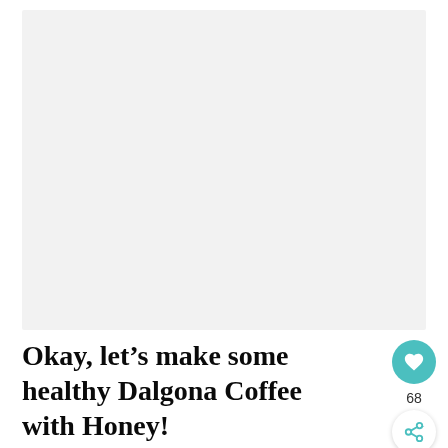[Figure (photo): Large light gray placeholder image area for a food/recipe photo of Dalgona Coffee with Honey]
Okay, let's make some healthy Dalgona Coffee with Honey!